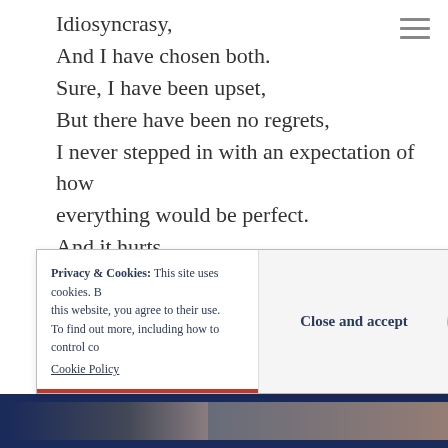Idiosyncrasy,
And I have chosen both.
Sure, I have been upset,
But there have been no regrets,
I never stepped in with an expectation of how everything would be perfect.
And it hurts,
But also it doesn't.
I would be honest.
I wouldn't lie
Still each morning I need to remind myself why.
[Figure (screenshot): Cookie consent banner overlay with text 'Privacy & Cookies: This site uses cookies. By continuing to use this website, you agree to their use. To find out more, including how to control cookies, see here: Cookie Policy' and a 'Close and accept' button.]